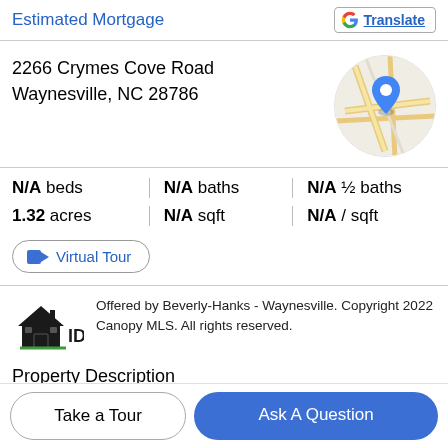Estimated Mortgage
Translate
2266 Crymes Cove Road
Waynesville, NC 28786
[Figure (map): Circular Google Maps thumbnail showing road map with blue location pin for the property address]
| N/A beds | N/A baths | N/A ½ baths |
| 1.32 acres | N/A sqft | N/A / sqft |
Virtual Tour
[Figure (logo): IDX logo — house silhouette with text IDX]
Offered by Beverly-Hanks - Waynesville. Copyright 2022 Canopy MLS. All rights reserved.
Property Description
Take a Tour
Ask A Question